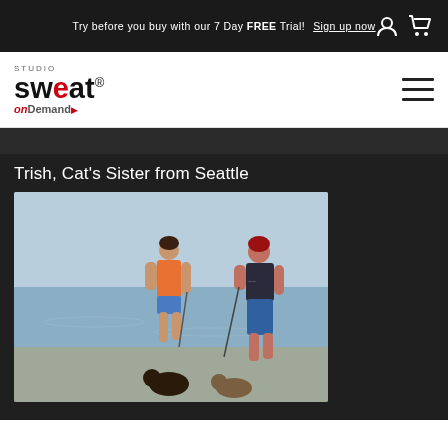Try before you buy with our 7 Day FREE Trial! Sign up now
[Figure (logo): Studio Sweat on Demand logo]
Trish, Cat's Sister from Seattle
[Figure (photo): Two women walking dogs at the water's edge on a beach. One wears an orange tank top and denim shorts, the other a dark t-shirt and blue capri pants.]